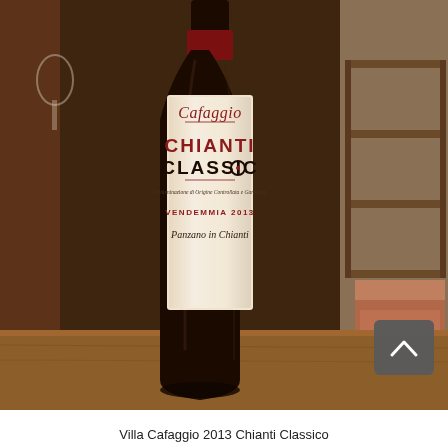[Figure (photo): A wine bottle of Villa Cafaggio 2013 Chianti Classico placed on a wooden table. The bottle label reads: Cafaggio (script), CHIANTI CLASSICO (bold), Denominazione di Origine Controllata e Garantita, VENDEMMIA 2013, Panzano in Chianti. Background shows restaurant interior with shelving. A back-to-top arrow button is visible in lower right corner.]
Villa Cafaggio 2013 Chianti Classico